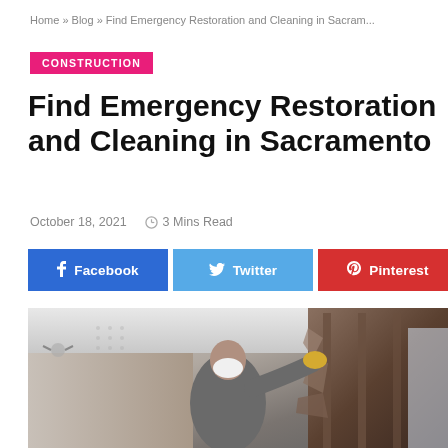Home » Blog » Find Emergency Restoration and Cleaning in Sacram...
CONSTRUCTION
Find Emergency Restoration and Cleaning in Sacramento
October 18, 2021   3 Mins Read
[Figure (infographic): Social share buttons: Facebook, Twitter, Pinterest, and a generic share button]
[Figure (photo): A person wearing a white respirator mask and work gloves performing emergency restoration work, tearing material from a damaged wall inside a home]